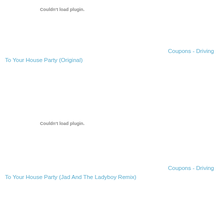[Figure (other): Couldn't load plugin. placeholder for audio player]
Coupons - Driving To Your House Party (Original)
[Figure (other): Couldn't load plugin. placeholder for audio player]
Coupons - Driving To Your House Party (Jad And The Ladyboy Remix)